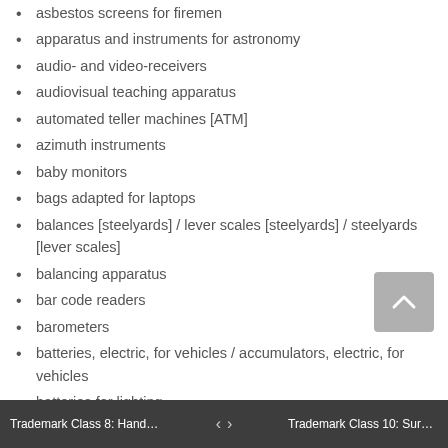asbestos screens for firemen
apparatus and instruments for astronomy
audio- and video-receivers
audiovisual teaching apparatus
automated teller machines [ATM]
azimuth instruments
baby monitors
bags adapted for laptops
balances [steelyards] / lever scales [steelyards] / steelyards [lever scales]
balancing apparatus
bar code readers
barometers
batteries, electric, for vehicles / accumulators, electric, for vehicles
batteries for lighting
batteries, electric
battery jars / accumulator jars
battery boxes / accumulator boxes
battery chargers
beacons, luminous
bells [warning devices]
Trademark Class 8: Hand Tools a...  <  >  Trademark Class 10: Surgical and...